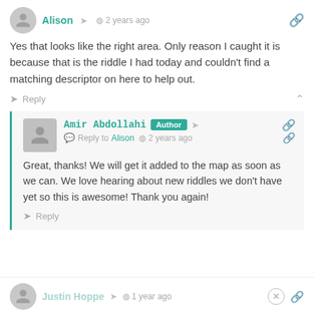Alison · 2 years ago
Yes that looks like the right area. Only reason I caught it is because that is the riddle I had today and couldn't find a matching descriptor on here to help out.
Reply
Amir Abdollahi Author · Reply to Alison · 2 years ago
Great, thanks! We will get it added to the map as soon as we can. We love hearing about new riddles we don't have yet so this is awesome! Thank you again!
Reply
Justin Hoppe · 1 year ago